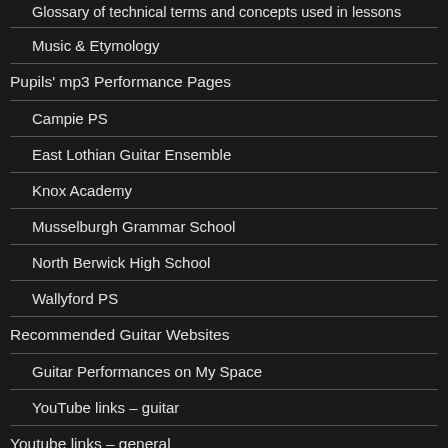Glossary of technical terms and concepts used in lessons
Music & Etymology
Pupils' mp3 Performance Pages
Campie PS
East Lothian Guitar Ensemble
Knox Academy
Musselburgh Grammar School
North Berwick High School
Wallyford PS
Recommended Guitar Websites
Guitar Performances on My Space
YouTube links – guitar
Youtube links – general